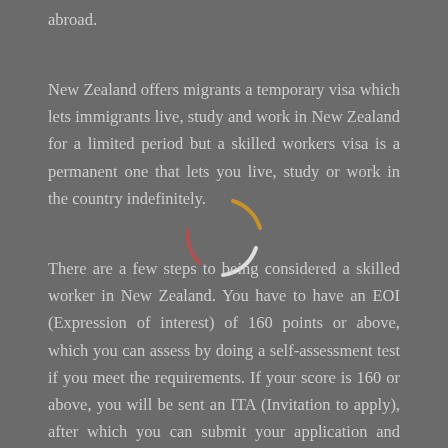abroad.
New Zealand offers migrants a temporary visa which lets immigrants live, study and work in New Zealand for a limited period but a skilled workers visa is a permanent one that lets you live, study or work in the country indefinitely.
There are a few steps to being considered a skilled worker in New Zealand. You have to have an EOI (Expression of interest) of 160 points or above, which you can assess by doing a self-assessment test if you meet the requirements. If your score is 160 or above, you will be sent an ITA (Invitation to apply), after which you can submit your application and receive your resident visa in a short while.